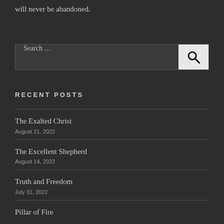will never be abandoned.
Search …
RECENT POSTS
The Exalted Christ
August 21, 2022
The Excellent Shepherd
August 14, 2022
Truth and Freedom
July 31, 2022
Pillar of Fire